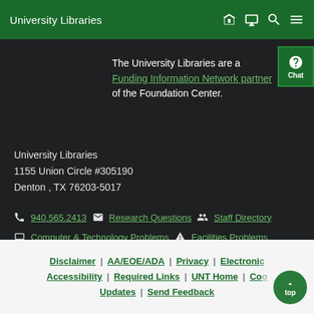University Libraries
The University Libraries are a Funding Information Network partner of the Foundation Center.
University Libraries
1155 Union Circle #305190
Denton , TX 76203-5017
940.565.2413  Research Questions  Staff Directory
Computer & Technology Problems  Facilities Problems
Disclaimer | AA/EOE/ADA | Privacy | Electronic Accessibility | Required Links | UNT Home | Cookie Updates | Send Feedback